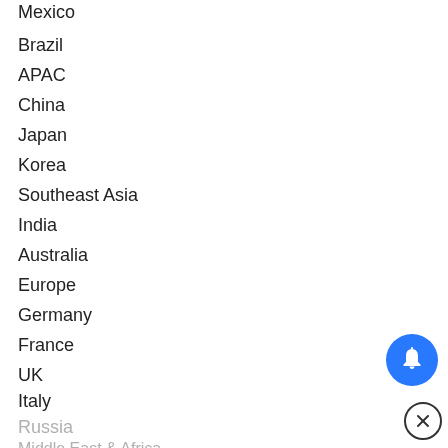Mexico
Brazil
APAC
China
Japan
Korea
Southeast Asia
India
Australia
Europe
Germany
France
UK
Italy
Russia
Middle East & Africa
Egypt